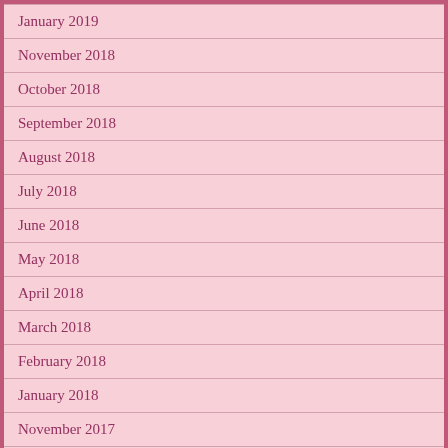January 2019
November 2018
October 2018
September 2018
August 2018
July 2018
June 2018
May 2018
April 2018
March 2018
February 2018
January 2018
November 2017
September 2017
August 2017